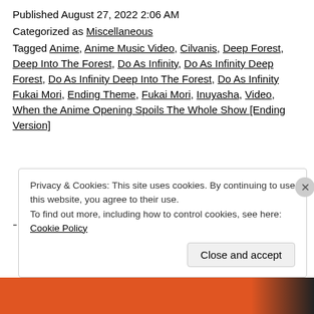Published August 27, 2022 2:06 AM
Categorized as Miscellaneous
Tagged Anime, Anime Music Video, Cilvanis, Deep Forest, Deep Into The Forest, Do As Infinity, Do As Infinity Deep Forest, Do As Infinity Deep Into The Forest, Do As Infinity Fukai Mori, Ending Theme, Fukai Mori, Inuyasha, Video, When the Anime Opening Spoils The Whole Show [Ending Version]
Privacy & Cookies: This site uses cookies. By continuing to use this website, you agree to their use.
To find out more, including how to control cookies, see here: Cookie Policy